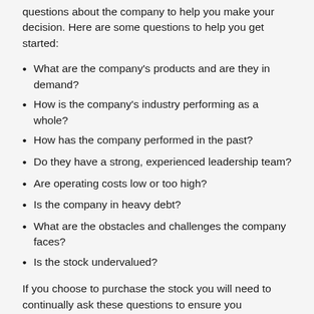questions about the company to help you make your decision. Here are some questions to help you get started:
What are the company's products and are they in demand?
How is the company's industry performing as a whole?
How has the company performed in the past?
Do they have a strong, experienced leadership team?
Are operating costs low or too high?
Is the company in heavy debt?
What are the obstacles and challenges the company faces?
Is the stock undervalued?
If you choose to purchase the stock you will need to continually ask these questions to ensure you still want to own it. Monitor how the company is...